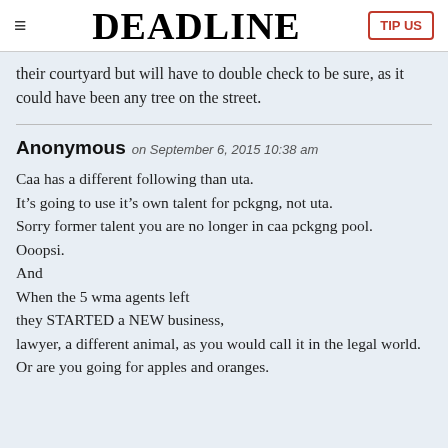DEADLINE | TIP US
their courtyard but will have to double check to be sure, as it could have been any tree on the street.
Anonymous on September 6, 2015 10:38 am
Caa has a different following than uta.
It’s going to use it’s own talent for pckgng, not uta.
Sorry former talent you are no longer in caa pckgng pool.
Ooopsi.
And
When the 5 wma agents left
they STARTED a NEW business,
lawyer, a different animal, as you would call it in the legal world.
Or are you going for apples and oranges.